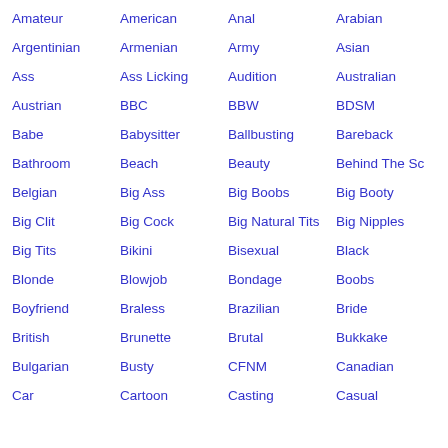Amateur
American
Anal
Arabian
Argentinian
Armenian
Army
Asian
Ass
Ass Licking
Audition
Australian
Austrian
BBC
BBW
BDSM
Babe
Babysitter
Ballbusting
Bareback
Bathroom
Beach
Beauty
Behind The Sc
Belgian
Big Ass
Big Boobs
Big Booty
Big Clit
Big Cock
Big Natural Tits
Big Nipples
Big Tits
Bikini
Bisexual
Black
Blonde
Blowjob
Bondage
Boobs
Boyfriend
Braless
Brazilian
Bride
British
Brunette
Brutal
Bukkake
Bulgarian
Busty
CFNM
Canadian
Car
Cartoon
Casting
Casual